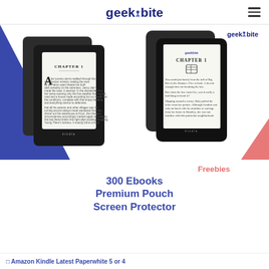geekbite
[Figure (photo): Amazon Kindle e-readers product image showing two Kindle devices on the left and two Kindle Paperwhite devices on the right, displayed against blue triangular background, with geekbite logo watermark, Amazon Kindle branding, and freebies listing: 300 Ebooks, Premium Pouch, Screen Protector]
Amazon Kindle Latest Paperwhite 5 or 4